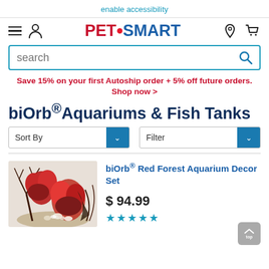enable accessibility
[Figure (logo): PetSmart logo with hamburger menu, person icon, location pin, and cart icon in navigation bar]
search
Save 15% on your first Autoship order + 5% off future orders. Shop now >
biOrb® Aquariums & Fish Tanks
Sort By
Filter
[Figure (photo): biOrb Red Forest Aquarium Decor Set product photo showing red coral and aquatic plants]
biOrb® Red Forest Aquarium Decor Set
$ 94.99
★★★★★